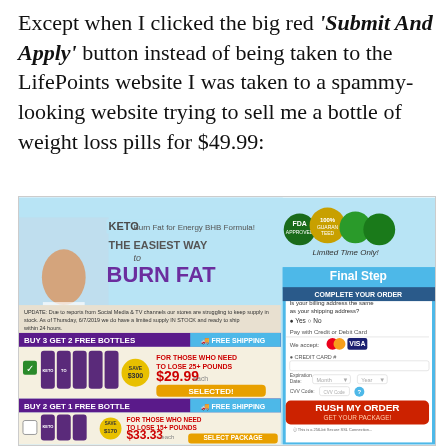Except when I clicked the big red 'Submit And Apply' button instead of being taken to the LifePoints website I was taken to a spammy-looking website trying to sell me a bottle of weight loss pills for $49.99:
[Figure (screenshot): Screenshot of a keto weight loss product sales page showing 'THE EASIEST WAY to BURN FAT' headline, product bundles (Buy 3 Get 2 Free at $29.99, Buy 2 Get 1 Free at $33.33), and a 'Final Step - Complete Your Order' form with credit card fields and a 'RUSH MY ORDER' button.]